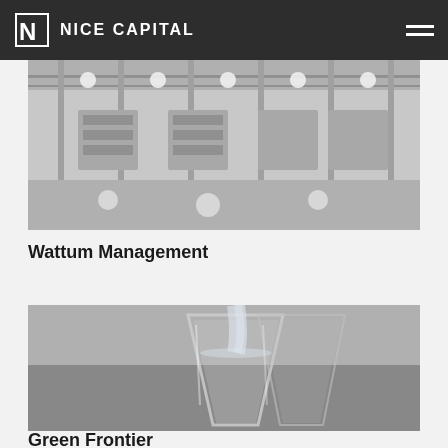NICE CAPITAL
[Figure (photo): Grayscale industrial/warehouse interior with bright lights and structural framework]
Wattum Management
[Figure (photo): Grayscale photo of water being poured into a glass]
Green Frontier